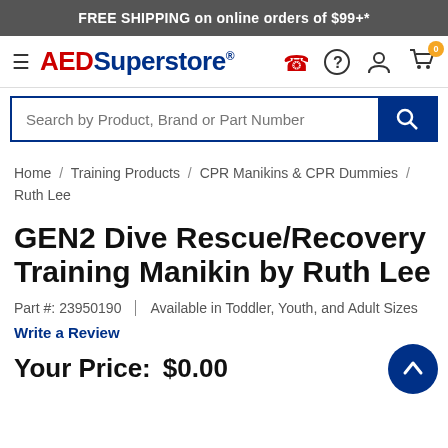FREE SHIPPING on online orders of $99+*
[Figure (logo): AEDSuperstore logo with hamburger menu and navigation icons (phone, help, account, cart)]
Search by Product, Brand or Part Number
Home / Training Products / CPR Manikins & CPR Dummies / Ruth Lee
GEN2 Dive Rescue/Recovery Training Manikin by Ruth Lee
Part #: 23950190 | Available in Toddler, Youth, and Adult Sizes
Write a Review
Your Price: $0.00